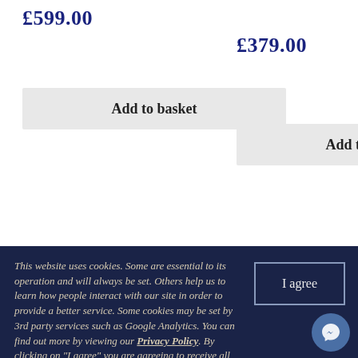£599.00
£379.00
Add to basket
Add to basket
[Figure (photo): Two camera lenses (black) partially visible at the bottom of the page]
This website uses cookies. Some are essential to its operation and will always be set. Others help us to learn how people interact with our site in order to provide a better service. Some cookies may be set by 3rd party services such as Google Analytics. You can find out more by viewing our Privacy Policy. By clicking on "I agree" you are agreeing to receive all types of cookie used on this site. You can change your choice at any time by clicking on the Cookies link in the footer of the website.
I agree